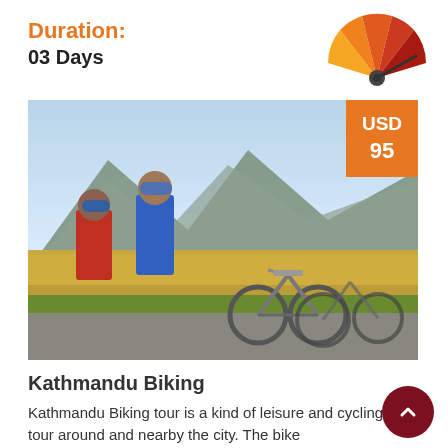Duration:
03 Days
[Figure (infographic): Gauge/speedometer dial showing difficulty or intensity level, colored in orange to red segments with needle pointing right toward red.]
[Figure (photo): Two cyclists wearing helmets standing beside mountain bikes on a road with terraced farmland and hills in the background.]
USD 95
Kathmandu Biking
Kathmandu Biking tour is a kind of leisure and cycling tour around and nearby the city. The bike